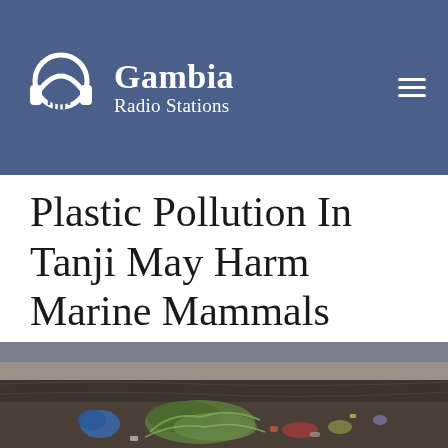Gambia Radio Stations
Plastic Pollution In Tanji May Harm Marine Mammals
[Figure (photo): A sandy beach littered with plastic waste including fishing nets, blue plastic debris, and other garbage scattered on dark wet sand near the shoreline]